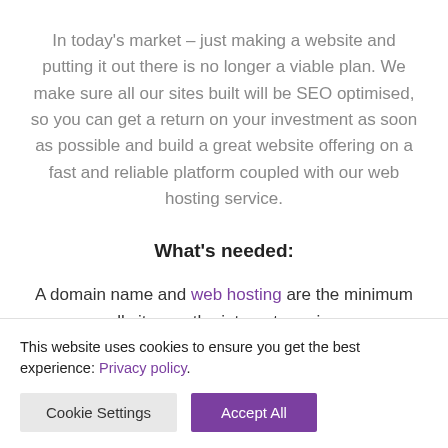In today's market – just making a website and putting it out there is no longer a viable plan. We make sure all our sites built will be SEO optimised, so you can get a return on your investment as soon as possible and build a great website offering on a fast and reliable platform coupled with our web hosting service.
What's needed:
A domain name and web hosting are the minimum all sites on the internet require.
This website uses cookies to ensure you get the best experience: Privacy policy.